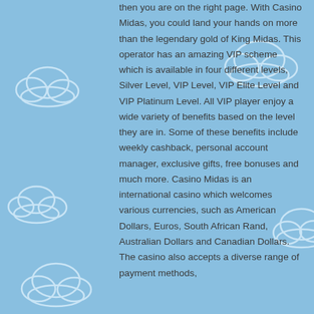then you are on the right page. With Casino Midas, you could land your hands on more than the legendary gold of King Midas. This operator has an amazing VIP scheme which is available in four different levels, Silver Level, VIP Level, VIP Elite Level and VIP Platinum Level. All VIP player enjoy a wide variety of benefits based on the level they are in. Some of these benefits include weekly cashback, personal account manager, exclusive gifts, free bonuses and much more. Casino Midas is an international casino which welcomes various currencies, such as American Dollars, Euros, South African Rand, Australian Dollars and Canadian Dollars. The casino also accepts a diverse range of payment methods,